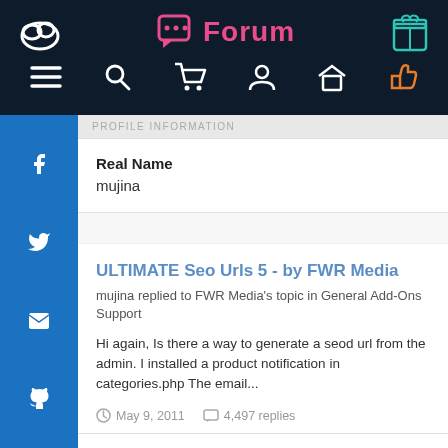Forum
PROFILE INFORMATION
Real Name
mujina
ULTIMATE Seo Urls 5 - by FWR Media
mujina replied to FWR Media's topic in General Add-Ons Support
Hi again, Is there a way to generate a seod url from the admin. I installed a product notification in categories.php The email...
May 9, 2011   4,497 replies
ULTIMATE Seo Urls - by FWR Media